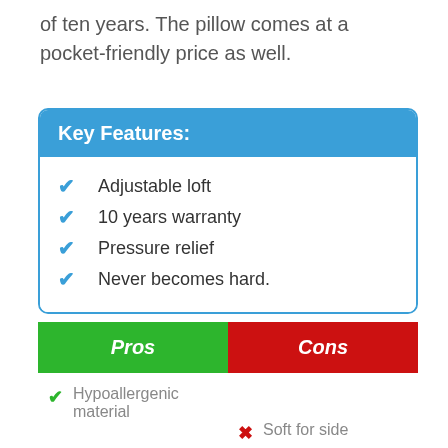of ten years. The pillow comes at a pocket-friendly price as well.
Key Features:
Adjustable loft
10 years warranty
Pressure relief
Never becomes hard.
| Pros | Cons |
| --- | --- |
| Hypoallergenic material | Soft for side |
Hypoallergenic material
Soft for side